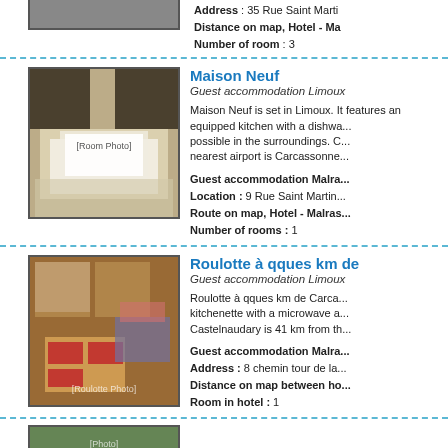Address : 35 Rue Saint Martin ... Distance on map, Hotel - Mal... Number of room : 3
[Figure (photo): Hotel room photo (partial, top of page)]
Maison Neuf
Guest accommodation Limoux
Maison Neuf is set in Limoux. It features an equipped kitchen with a dishwa... possible in the surroundings. C... nearest airport is Carcassonne...
Guest accommodation Malra... Location : 9 Rue Saint Martin... Route on map, Hotel - Malras... Number of rooms : 1
[Figure (photo): Maison Neuf room interior with white bed and wooden floor]
Roulotte à qques km de
Guest accommodation Limoux
Roulotte à qques km de Carca... kitchenette with a microwave a... Castelnaudary is 41 km from th...
Guest accommodation Malra... Address : 8 chemin tour de la... Distance on map between ho... Room in hotel : 1
[Figure (photo): Roulotte interior with wooden dining table and red placemats]
[Figure (photo): Partial photo at bottom of page]